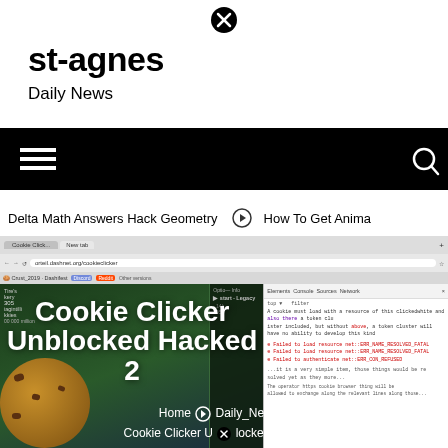[Figure (other): Close/X button circle icon at top center]
st-agnes
Daily News
[Figure (other): Black navigation bar with hamburger menu icon on left and search icon on right]
Delta Math Answers Hack Geometry   ⊙   How To Get Anima
[Figure (screenshot): Screenshot of Cookie Clicker game in a browser window, showing the game interface with a large cookie, game panels, and browser developer tools open on the right side. Bold white text overlay reads 'Cookie Clicker Unblocked Hacked 2']
Home ⊙ Daily_News > Cookie Clicker Unblocked Hacked 2